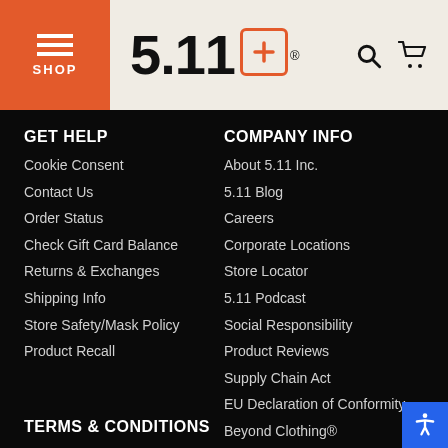[Figure (logo): 5.11 Tactical logo with hamburger menu and SHOP button in orange, search and cart icons]
GET HELP
Cookie Consent
Contact Us
Order Status
Check Gift Card Balance
Returns & Exchanges
Shipping Info
Store Safety/Mask Policy
Product Recall
COMPANY INFO
About 5.11 Inc.
5.11 Blog
Careers
Corporate Locations
Store Locator
5.11 Podcast
Social Responsibility
Product Reviews
Supply Chain Act
EU Declaration of Conformity
Beyond Clothing®
TERMS & CONDITIONS